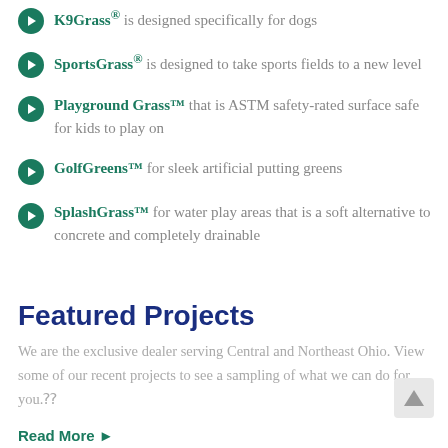K9Grass® is designed specifically for dogs
SportsGrass® is designed to take sports fields to a new level
Playground Grass™ that is ASTM safety-rated surface safe for kids to play on
GolfGreens™ for sleek artificial putting greens
SplashGrass™ for water play areas that is a soft alternative to concrete and completely drainable
Featured Projects
We are the exclusive dealer serving Central and Northeast Ohio. View some of our recent projects to see a sampling of what we can do for you.
Read More ▶